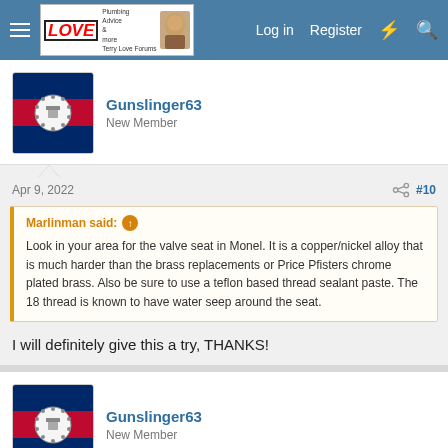Terry Love Plumbing Forums — Log in | Register
Gunslinger63
New Member
Apr 9, 2022	#10
Marlinman said: ↑
Look in your area for the valve seat in Monel. It is a copper/nickel alloy that is much harder than the brass replacements or Price Pfisters chrome plated brass. Also be sure to use a teflon based thread sealant paste. The 18 thread is known to have water seep around the seat.
I will definitely give this a try, THANKS!
Gunslinger63
New Member
Apr 9, 2022	#11